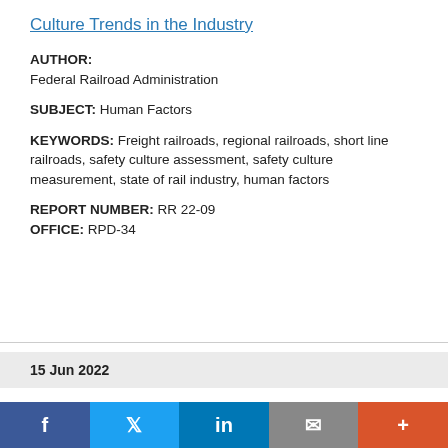Culture Trends in the Industry
AUTHOR: Federal Railroad Administration
SUBJECT: Human Factors
KEYWORDS: Freight railroads, regional railroads, short line railroads, safety culture assessment, safety culture measurement, state of rail industry, human factors
REPORT NUMBER: RR 22-09
OFFICE: RPD-34
15 Jun 2022
Technical Reports